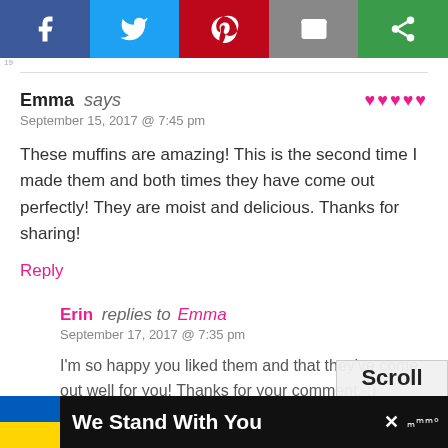[Figure (infographic): Social share button bar with Facebook, Twitter, Pinterest, Email, and another share icon]
Emma says
September 15, 2017 @ 7:45 pm
♥♥♥♥♥
These muffins are amazing! This is the second time I made them and both times they have come out perfectly! They are moist and delicious. Thanks for sharing!
Reply
Erin replies to Emma
September 17, 2017 @ 7:35 pm
I'm so happy you liked them and that they've come out well for you! Thanks for your comment. :)
[Figure (screenshot): Scroll to top overlay widget]
We Stand With You